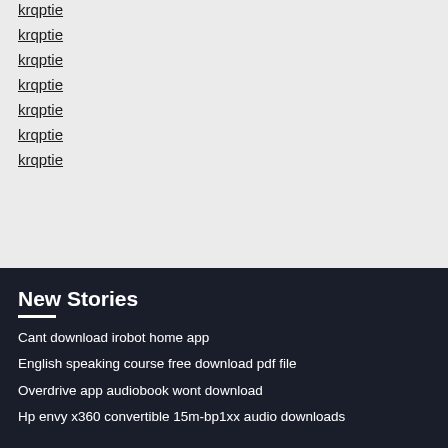krqptie
krqptie
krqptie
krqptie
krqptie
krqptie
krqptie
New Stories
Cant download irobot home app
English speaking course free download pdf file
Overdrive app audiobook wont download
Hp envy x360 convertible 15m-bp1xx audio downloads